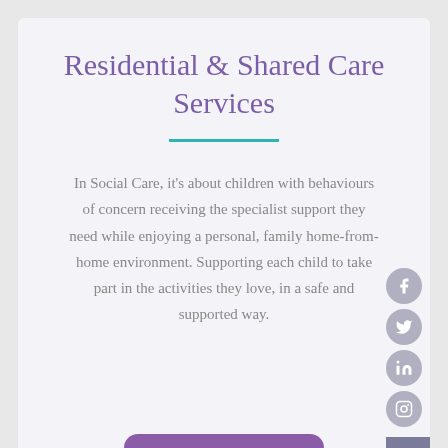Residential & Shared Care Services
In Social Care, it's about children with behaviours of concern receiving the specialist support they need while enjoying a personal, family home-from-home environment. Supporting each child to take part in the activities they love, in a safe and supported way.